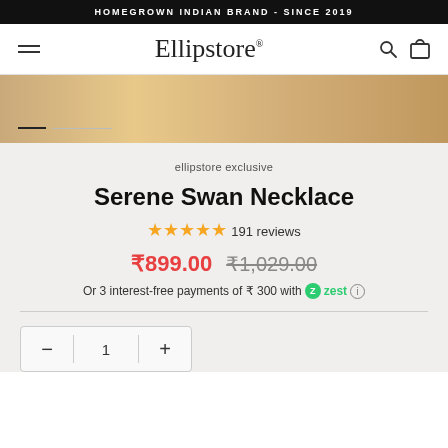HOMEGROWN INDIAN BRAND - SINCE 2019
[Figure (logo): Ellipstore logo with hamburger menu, search and cart icons]
[Figure (photo): Golden/bronze product image strip with slide indicator dots]
ellipstore exclusive
Serene Swan Necklace
★★★★★ 191 reviews
₹899.00  ₹1,029.00
Or 3 interest-free payments of ₹ 300 with zest ⓘ
1